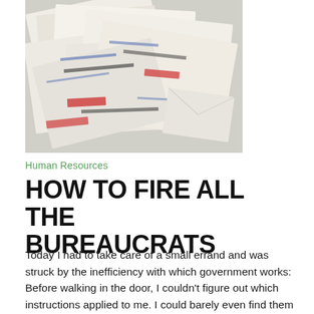[Figure (photo): Overhead view of scattered paper documents, forms, and envelopes with red and blue stamps/markings, suggesting bureaucratic paperwork]
Human Resources
HOW TO FIRE ALL THE BUREAUCRATS
Today I had to take care of a small errand and was struck by the inefficiency with which government works: Before walking in the door, I couldn't figure out which instructions applied to me. I could barely even find them on the website. The appointment system was telephone-based, a frustrating waste of time. Once inRead… Read